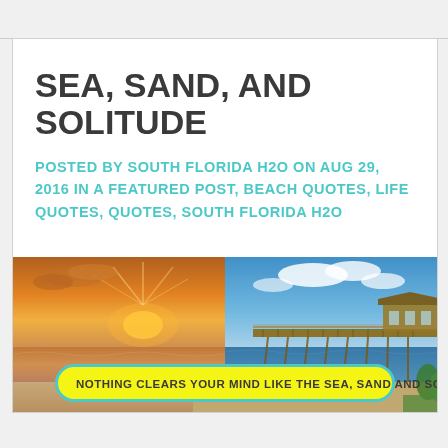SEA, SAND, AND SOLITUDE
POSTED BY SOUTH FLORIDA H2O ON AUG 29, 2016 IN A FEATURED POST, BEACH QUOTES, LIFE QUOTES, QUOTES, SOUTH FLORIDA H2O
[Figure (photo): Beach scene with sunset on the left side showing golden/orange sky over calm water, and a wooden pier extending into blue water on the right side under blue sky with clouds. A yellow banner with teal border at the bottom reads: NOTHING CLEARS YOUR MIND LIKE THE SEA, SAND AND SOLITUDE]